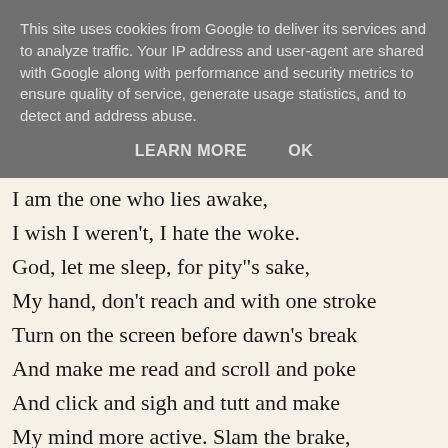This site uses cookies from Google to deliver its services and to analyze traffic. Your IP address and user-agent are shared with Google along with performance and security metrics to ensure quality of service, generate usage statistics, and to detect and address abuse.
LEARN MORE    OK
I am the one who lies awake,
I wish I weren't, I hate the woke.
God, let me sleep, for pity"s sake,
My hand, don't reach and with one stroke
Turn on the screen before dawn's break
And make me read and scroll and poke
And click and sigh and tutt and make
My mind more active.  Slam the brake,